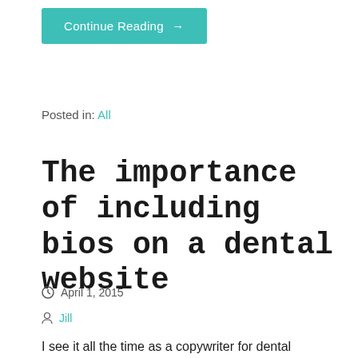[Figure (other): Teal/green 'Continue Reading →' button]
Posted in: All
The importance of including bios on a dental website
April 1, 2015
Jill
I see it all the time as a copywriter for dental